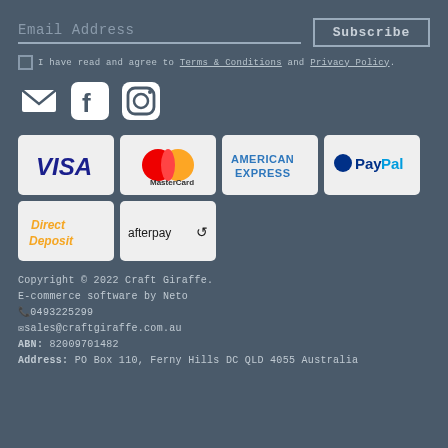Email Address [input] Subscribe [button]
I have read and agree to Terms & Conditions and Privacy Policy.
[Figure (illustration): Social media icons: email/envelope, Facebook, Instagram]
[Figure (illustration): Payment method logos: VISA, MasterCard, American Express, PayPal, Direct Deposit, afterpay]
Copyright © 2022 Craft Giraffe.
E-commerce software by Neto
📞0493225299
✉sales@craftgiraffe.com.au
ABN: 82009701482
Address: PO Box 110, Ferny Hills DC QLD 4055 Australia